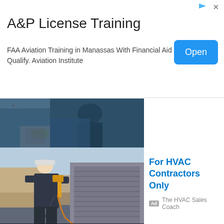[Figure (screenshot): Advertisement banner for A&P License Training with blue Open button]
A&P License Training
FAA Aviation Training in Manassas With Financial Aid If You Qualify. Aviation Institute
[Figure (photo): Partial cropped photo of a technician working on HVAC equipment]
[Figure (photo): HVAC technician in hard hat using multimeter on outdoor air conditioning unit]
For HVAC Contractors Only
Ad The HVAC Sales Coach
[Figure (screenshot): Dark advertisement image showing Win/Loss Analysis with line chart overlay]
Increase Win Rates Up to 50%
Ad Clozd